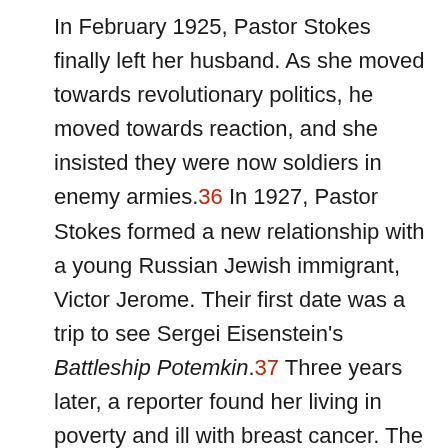In February 1925, Pastor Stokes finally left her husband. As she moved towards revolutionary politics, he moved towards reaction, and she insisted they were now soldiers in enemy armies.36 In 1927, Pastor Stokes formed a new relationship with a young Russian Jewish immigrant, Victor Jerome. Their first date was a trip to see Sergei Eisenstein's Battleship Potemkin.37 Three years later, a reporter found her living in poverty and ill with breast cancer. The report prompted offers of help and supporters raised funds for treatment at a clinic in Germany, although Graham Stokes declined an invitation to donate saying that helping her would inevitably help her cause, which he now despised. Pastor Stokes died in Frankfurt on June 20, 1933, two days after her 54th birthday, while seeking radiation therapy in Germany.